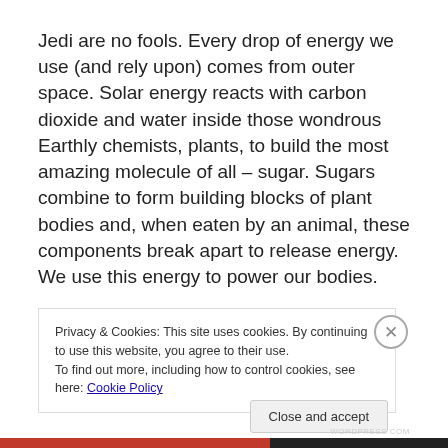Jedi are no fools. Every drop of energy we use (and rely upon) comes from outer space. Solar energy reacts with carbon dioxide and water inside those wondrous Earthly chemists, plants, to build the most amazing molecule of all – sugar. Sugars combine to form building blocks of plant bodies and, when eaten by an animal, these components break apart to release energy. We use this energy to power our bodies.
Privacy & Cookies: This site uses cookies. By continuing to use this website, you agree to their use.
To find out more, including how to control cookies, see here: Cookie Policy
Close and accept